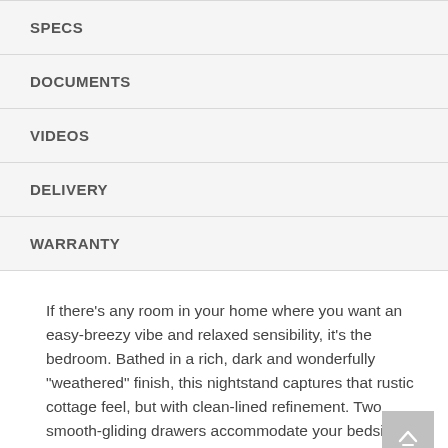SPECS
DOCUMENTS
VIDEOS
DELIVERY
WARRANTY
If there's any room in your home where you want an easy-breezy vibe and relaxed sensibility, it's the bedroom. Bathed in a rich, dark and wonderfully "weathered" finish, this nightstand captures that rustic cottage feel, but with clean-lined refinement. Two smooth-gliding drawers accommodate your bedside needs beautifully.